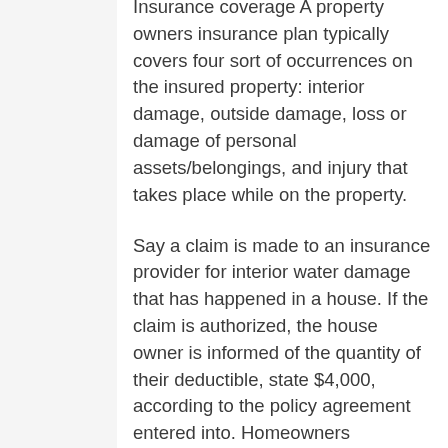Insurance coverage A property owners insurance plan typically covers four sort of occurrences on the insured property: interior damage, outside damage, loss or damage of personal assets/belongings, and injury that takes place while on the property.
Say a claim is made to an insurance provider for interior water damage that has happened in a house. If the claim is authorized, the house owner is informed of the quantity of their deductible, state $4,000, according to the policy agreement entered into. Homeowners Hurricane Insurance.